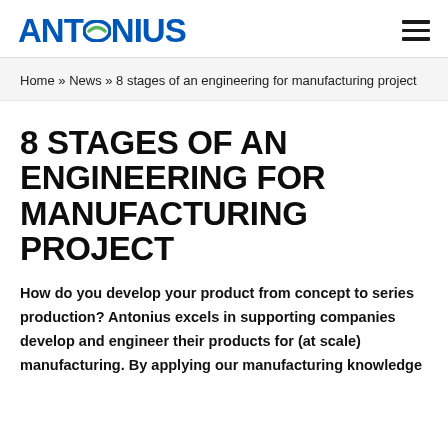ANTONIUS
Home » News » 8 stages of an engineering for manufacturing project
8 STAGES OF AN ENGINEERING FOR MANUFACTURING PROJECT
How do you develop your product from concept to series production? Antonius excels in supporting companies develop and engineer their products for (at scale) manufacturing. By applying our manufacturing knowledge